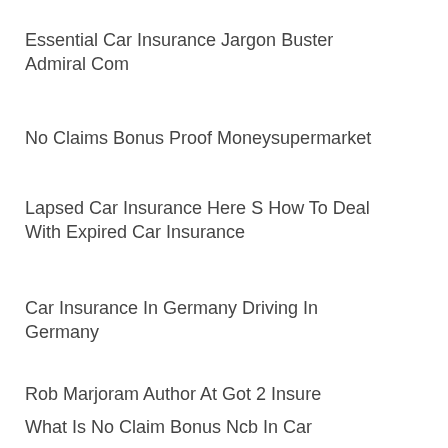Essential Car Insurance Jargon Buster Admiral Com
No Claims Bonus Proof Moneysupermarket
Lapsed Car Insurance Here S How To Deal With Expired Car Insurance
Car Insurance In Germany Driving In Germany
Rob Marjoram Author At Got 2 Insure
What Is No Claim Bonus Ncb In Car Insurance Explained